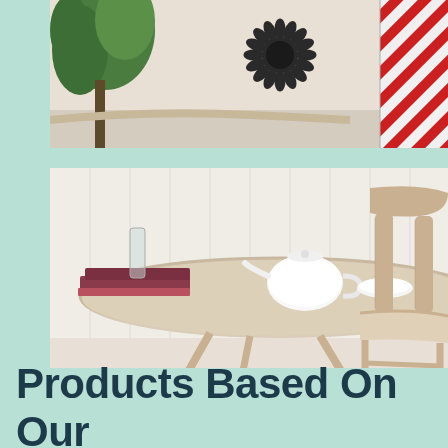[Figure (photo): Top portion of a styled room scene — partial view of a round bistro table and chair with a decorative metal sunburst wall clock, green plant, and red striped textile on the right.]
[Figure (photo): A whitewashed wooden round café table with a white teapot, small bowl, and a stack of books, alongside a matching light wood chair with metal frame, set against a white plank wall.]
Products Based On Our